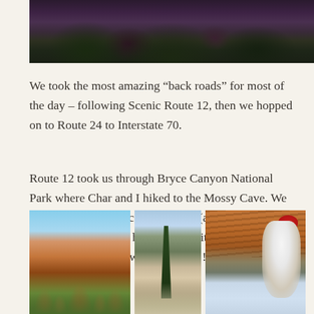[Figure (photo): Dark landscape photo showing rocky hillside with evergreen trees in dim/dusk lighting with purple and dark tones]
We took the most amazing “back roads” for most of the day – following Scenic Route 12, then we hopped on to Route 24 to Interstate 70.
Route 12 took us through Bryce Canyon National Park where Char and I hiked to the Mossy Cave. We saw some amazing ice formations (and ice/water fall) and the Mossy Cave has ice stalactites and stalagmites that last well into June!!!
[Figure (photo): Photo of orange-red hoodoo rock formations at Bryce Canyon with blue sky and green trees in foreground]
[Figure (photo): Photo of a snowy forest trail with coniferous trees and canyon walls visible in background]
[Figure (photo): Photo of person in red hat and white jacket standing next to icicle formations in Mossy Cave]